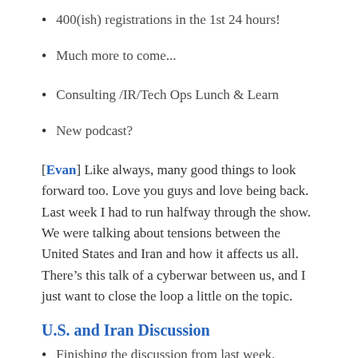400(ish) registrations in the 1st 24 hours!
Much more to come...
Consulting /IR/Tech Ops Lunch & Learn
New podcast?
[Evan] Like always, many good things to look forward too. Love you guys and love being back. Last week I had to run halfway through the show. We were talking about tensions between the United States and Iran and how it affects us all. There’s this talk of a cyberwar between us, and I just want to close the loop a little on the topic.
U.S. and Iran Discussion
Finishing the discussion from last week.